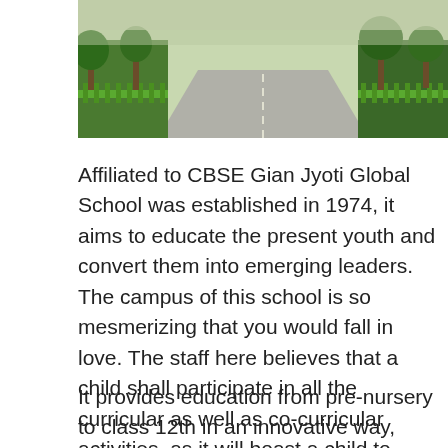[Figure (photo): Outdoor photo of a school campus road lined with green trees and a green picket fence under a bright sky.]
Affiliated to CBSE Gian Jyoti Global School was established in 1974, it aims to educate the present youth and convert them into emerging leaders. The campus of this school is so mesmerizing that you would fall in love. The staff here believes that a child shall participate in all the curricular as well as co-curricular activities, as it will boast a child to achieve greater heights shortly.
It provides education from pre-nursery to class 12th in an innovative way, without getting the students to feel somnolent